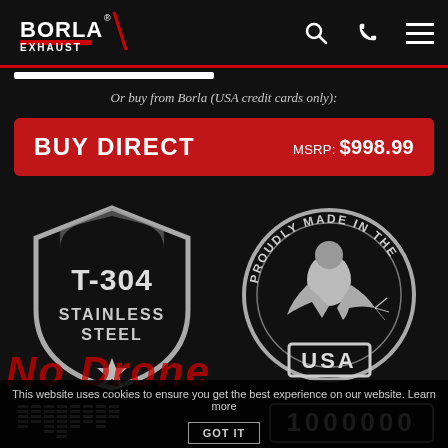[Figure (logo): Borla Exhaust logo — white text on black background with red accent bar]
Or buy from Borla (USA credit cards only):
BUY DIRECT   MSRP: $998.99
[Figure (logo): T-304 Stainless Steel shield badge in grey/white on black]
[Figure (logo): Proudly Made in the USA circular badge with welder illustration]
[Figure (infographic): Sound wave equalizer bars icon (grey) and 1000000 miles badge icon]
No Drone
This website uses cookies to ensure you get the best experience on our website. Learn more
GOT IT
Tips NOT included. Use factory valance / Tips. BORLA® Cat-Back™